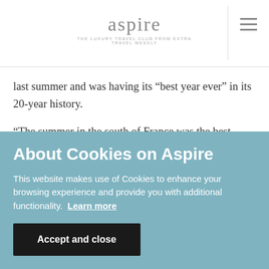aspire — THE LUXURY TRAVEL CLUB FROM EXTRA TRAVEL WEEKLY
last summer and was having its “best year ever” in its 20-year history.
“The summer in the south of France was the best summer we’ve ever had. This winter in the mountains with the best winter we’ve ever had,” he added.
Finan attributed some of the company’s success to a rise
About Cookies on Aspire
This website makes use of Cookies to enhance your browsing experience and provide you with additional functionality.  Learn more
Accept and close